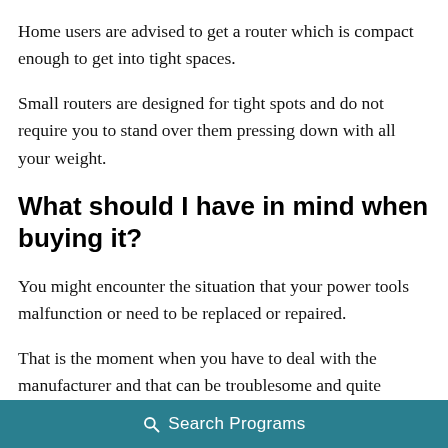Home users are advised to get a router which is compact enough to get into tight spaces.
Small routers are designed for tight spots and do not require you to stand over them pressing down with all your weight.
What should I have in mind when buying it?
You might encounter the situation that your power tools malfunction or need to be replaced or repaired.
That is the moment when you have to deal with the manufacturer and that can be troublesome and quite
Search Programs